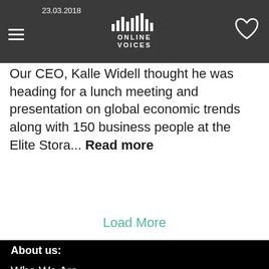23.03.2018 | Online Voices
Our CEO, Kalle Widell thought he was heading for a lunch meeting and presentation on global economic trends along with 150 business people at the Elite Stora... Read more
Load More
About us:
Who We Are
Our Services
Our Cases
FAQ
Integrity policy